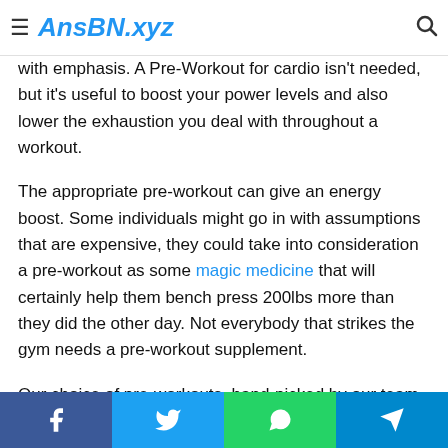AnsBN.xyz
with emphasis. A Pre-Workout for cardio isn't needed, but it's useful to boost your power levels and also lower the exhaustion you deal with throughout a workout.
The appropriate pre-workout can give an energy boost. Some individuals might go in with assumptions that are expensive, they could take into consideration a pre-workout as some magic medicine that will certainly help them bench press 200lbs more than they did the other day. Not everybody that strikes the gym needs a pre-workout supplement.
Our choice of pre-workouts, hand-picked by our team of specialists, will certainly supply all the energy (for the best cost) you need for a great workout. It's mosting likely
Facebook Twitter WhatsApp Telegram